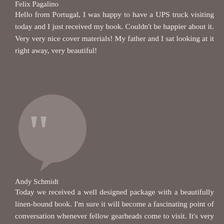Felix Pagalino
Hello from Portugal, I was happy to have a UPS truck visiting today and I just received my book. Couldn't be happier about it. Very very nice cover materials! My father and I sat looking at it right away, very beautiful!
[Figure (illustration): Large grey speech bubble icon with double quotation marks]
Andy Schmidt
Today we received a well designed package with a beautifully linen-bound book. I'm sure it will become a fascinating point of conversation whenever fellow gearheads come to visit. It's very nice that some people still value good workmanship on the artistic side, and the